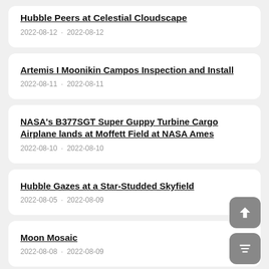Hubble Peers at Celestial Cloudscape
2022-08-12 · 2022-08-12
Artemis I Moonikin Campos Inspection and Install
2022-08-11 · 2022-08-11
NASA's B377SGT Super Guppy Turbine Cargo Airplane lands at Moffett Field at NASA Ames
2022-08-10 · 2022-08-10
Hubble Gazes at a Star-Studded Skyfield
2022-08-05 · 2022-08-09
Moon Mosaic
2022-08-08 · 2022-08-09
Curiosity's Dusty Selfie